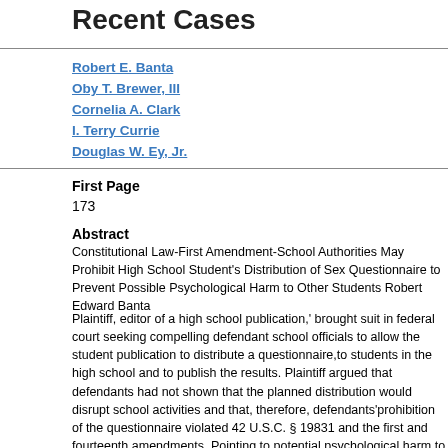Recent Cases
Robert E. Banta
Oby T. Brewer, III
Cornelia A. Clark
I. Terry Currie
Douglas W. Ey, Jr.
First Page
173
Abstract
Constitutional Law-First Amendment-School Authorities May Prohibit High School Student's Distribution of Sex Questionnaire to Prevent Possible Psychological Harm to Other Students Robert Edward Banta
Plaintiff, editor of a high school publication,' brought suit in federal court seeking compelling defendant school officials to allow the student publication to distribute a questionnaire,to students in the high school and to publish the results. Plaintiff argued that defendants had not shown that the planned distribution would disrupt school activities and that, therefore, defendants'prohibition of the questionnaire violated 42 U.S.C. § 19831 and the first and fourteenth amendments. Pointing to potential psychological harm to students, defendants argued that the state's interest in protecting the students' emotional well-being outweighed plaintiffs interest in distributing the questionnaire. The trial court held that defendants could prohibit distribution of the questionnaire to the students but also held to change the official